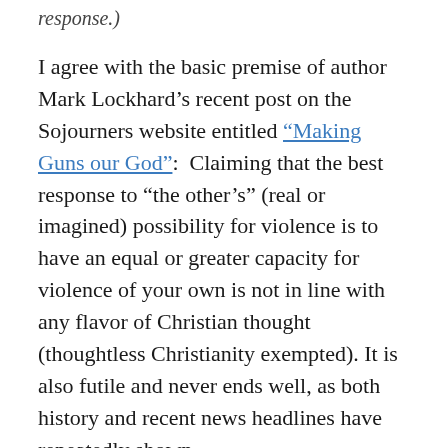response.)
I agree with the basic premise of author Mark Lockhard’s recent post on the Sojourners website entitled “Making Guns our God”: Claiming that the best response to “the other’s” (real or imagined) possibility for violence is to have an equal or greater capacity for violence of your own is not in line with any flavor of Christian thought (thoughtless Christianity exempted). It is also futile and never ends well, as both history and recent news headlines have repeatedly shown.
But, I tend to be a bit more of a pragmatist, I think. We will not and cannot eliminate guns from society, and while I will never own a gun